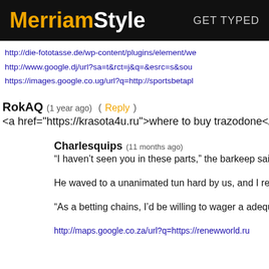MerriamStyle — GET TYPED
http://die-fototasse.de/wp-content/plugins/element/we
http://www.google.dj/url?sa=t&rct=j&q=&esrc=s&sou
https://images.google.co.ug/url?q=http://sportsbetapl
RokAQ   (1 year ago)   (Reply)
<a href="https://krasota4u.ru">where to buy trazodone</a>
Charlesquips   (11 months ago)
“I haven’t seen you in these parts,” the barkeep said,
He waved to a unanimated tun hard by us, and I retu
“As a betting chains, I’d be willing to wager a adequa
http://maps.google.co.za/url?q=https://renewworld.ru